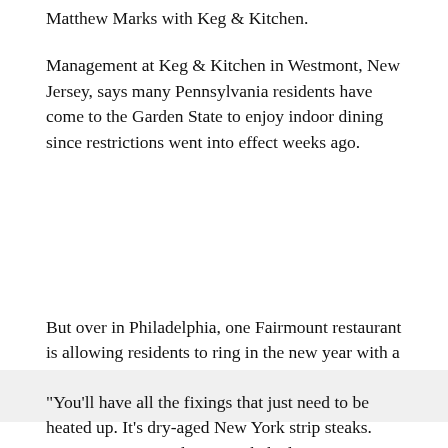Matthew Marks with Keg & Kitchen.
Management at Keg & Kitchen in Westmont, New Jersey, says many Pennsylvania residents have come to the Garden State to enjoy indoor dining since restrictions went into effect weeks ago.
But over in Philadelphia, one Fairmount restaurant is allowing residents to ring in the new year with a delicious meal at home.
"You'll have all the fixings that just need to be heated up. It's dry-aged New York strip steaks. You get two per order, twice-baked potatoes, chard broccolini on the side with a little shaved pecorino," Bar Hygge co-